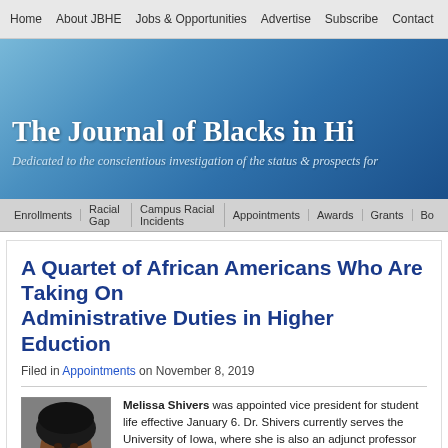Home | About JBHE | Jobs & Opportunities | Advertise | Subscribe | Contact
[Figure (screenshot): Blue gradient banner with the text 'The Journal of Blacks in Hi' (truncated) and subtitle 'Dedicated to the conscientious investigation of the status & prospects for']
Enrollments | Racial Gap | Campus Racial Incidents | Appointments | Awards | Grants | B...
A Quartet of African Americans Who Are Taking On Administrative Duties in Higher Eduction
Filed in Appointments on November 8, 2019
[Figure (photo): Portrait photo of Melissa Shivers, an African American woman with dark hair, smiling]
Melissa Shivers was appointed vice president for student life effective January 6. Dr. Shivers currently serves the University of Iowa, where she is also an adjunct professor of policy and leadership studies. Previously, Dr. Shivers served at the University of Tennessee, Knoxville as assistant vice chancellor and the...